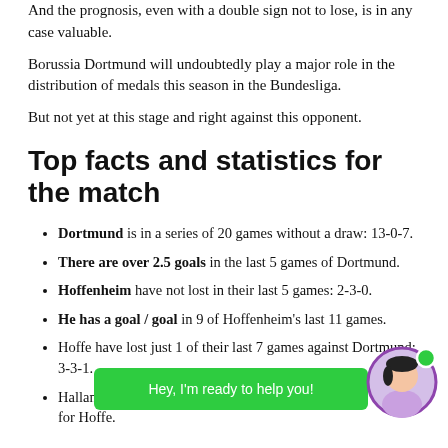And the prognosis, even with a double sign not to lose, is in any case valuable.
Borussia Dortmund will undoubtedly play a major role in the distribution of medals this season in the Bundesliga.
But not yet at this stage and right against this opponent.
Top facts and statistics for the match
Dortmund is in a series of 20 games without a draw: 13-0-7.
There are over 2.5 goals in the last 5 games of Dortmund.
Hoffenheim have not lost in their last 5 games: 2-3-0.
He has a goal / goal in 9 of Hoffenheim's last 11 games.
Hoffe have lost just 1 of their last 7 games against Dortmund: 3-3-1.
Halland is Do[...]. La[...] 2 for Hoffe.
[Figure (illustration): Chat widget overlay with green bubble saying 'Hey, I'm ready to help you!' and avatar of a person with online indicator dot]